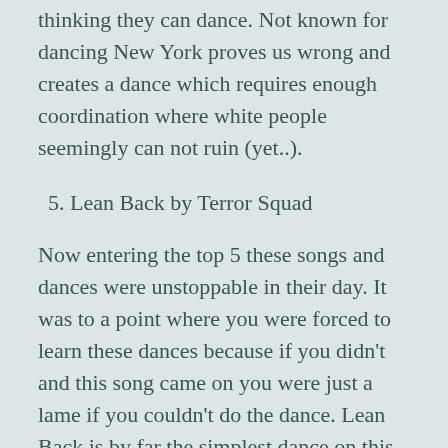thinking they can dance. Not known for dancing New York proves us wrong and creates a dance which requires enough coordination where white people seemingly can not ruin (yet..).
5. Lean Back by Terror Squad
Now entering the top 5 these songs and dances were unstoppable in their day. It was to a point where you were forced to learn these dances because if you didn't and this song came on you were just a lame if you couldn't do the dance. Lean Back is by far the simplest dance on this list maybe even ever but there was just something so smooth about it. Gave off the